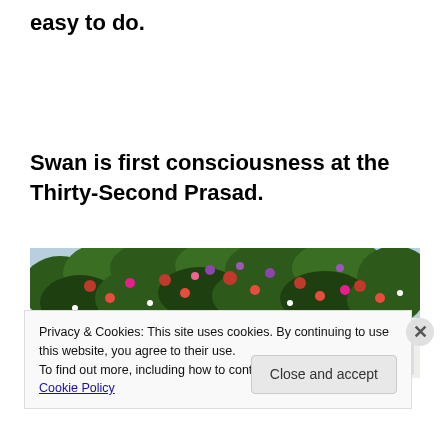easy to do.
Swan is first consciousness at the Thirty-Second Prasad.
[Figure (photo): Photo of flowering plants and vines with red, pink, purple flowers against a white fence/trellis background, viewed from below looking up.]
Privacy & Cookies: This site uses cookies. By continuing to use this website, you agree to their use.
To find out more, including how to control cookies, see here: Cookie Policy
Close and accept